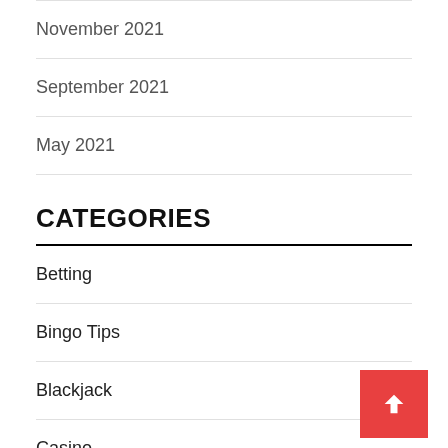November 2021
September 2021
May 2021
CATEGORIES
Betting
Bingo Tips
Blackjack
Casino